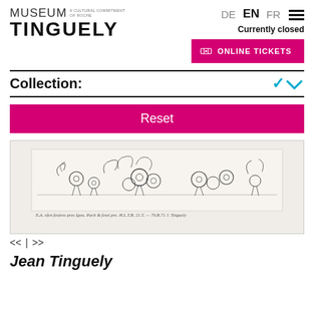[Figure (logo): Museum Tinguely logo with text 'MUSEUM TINGUELY' and tagline 'A Cultural Commitment of Roche']
DE  EN  FR  [hamburger menu]  Currently closed  ONLINE TICKETS
Collection:
Reset
[Figure (illustration): Sketch/drawing by Jean Tinguely showing mechanical figures and machines, with handwritten inscription at the bottom reading: E.A. efen feuiree pres Igou. Parit & fessl pre. H.L.T.B. 21.T. — 79.B.71 J. Tinguely]
<< | >>
Jean Tinguely